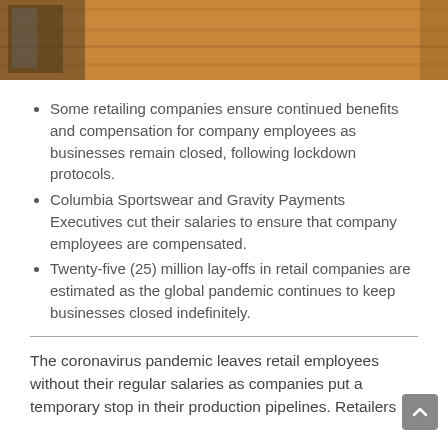[Figure (photo): Partial photo of a wooden slatted wall background with what appears to be a shop front or building exterior, brown/tan tones. Cropped at top.]
Some retailing companies ensure continued benefits and compensation for company employees as businesses remain closed, following lockdown protocols.
Columbia Sportswear and Gravity Payments Executives cut their salaries to ensure that company employees are compensated.
Twenty-five (25) million lay-offs in retail companies are estimated as the global pandemic continues to keep businesses closed indefinitely.
The coronavirus pandemic leaves retail employees without their regular salaries as companies put a temporary stop in their production pipelines. Retailers